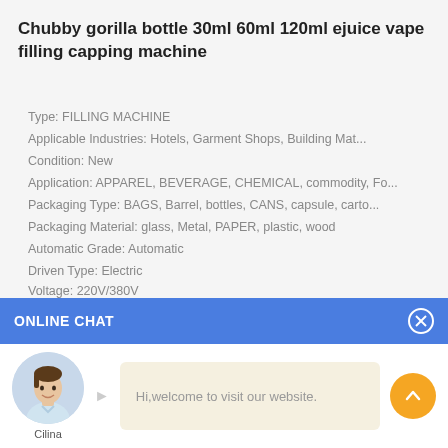Chubby gorilla bottle 30ml 60ml 120ml ejuice vape filling capping machine
Type: FILLING MACHINE
Applicable Industries: Hotels, Garment Shops, Building Mat...
Condition: New
Application: APPAREL, BEVERAGE, CHEMICAL, commodity, Fo...
Packaging Type: BAGS, Barrel, bottles, CANS, capsule, carto...
Packaging Material: glass, Metal, PAPER, plastic, wood
Automatic Grade: Automatic
Driven Type: Electric
Voltage: 220V/380V
ONLINE CHAT
[Figure (illustration): Online chat widget with avatar of a woman named Cilina and a welcome message bubble saying 'Hi,welcome to visit our website.' with an orange scroll-up button.]
Hi,welcome to visit our website.
Cilina